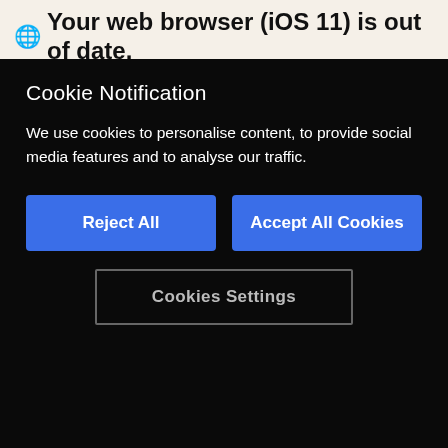🌐 Your web browser (iOS 11) is out of date.
Update your browser for more security, speed and
Cookie Notification
We use cookies to personalise content, to provide social media features and to analyse our traffic.
Reject All
Accept All Cookies
Cookies Settings
Facebook ads
Instagram ads
Billetto site recommendations
Billetto newsletter
Publisher network distribution